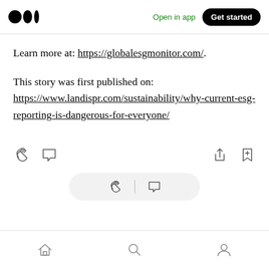Medium logo | Open in app | Get started
Learn more at: https://globalesgmonitor.com/.
This story was first published on: https://www.landispr.com/sustainability/why-current-esg-reporting-is-dangerous-for-everyone/
[Figure (screenshot): Article action icons: clap, comment, share, bookmark]
[Figure (screenshot): Floating pill bar with clap and comment icons]
Bottom navigation bar with home, search, and profile icons